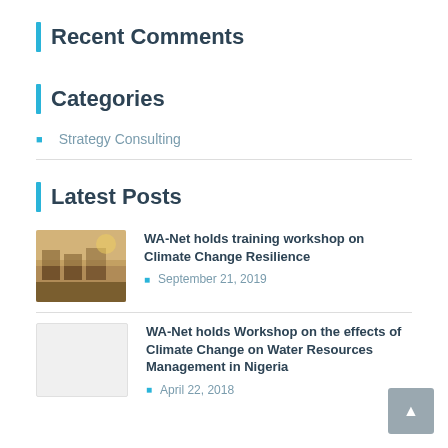Recent Comments
Categories
Strategy Consulting
Latest Posts
WA-Net holds training workshop on Climate Change Resilience
September 21, 2019
WA-Net holds Workshop on the effects of Climate Change on Water Resources Management in Nigeria
April 22, 2018